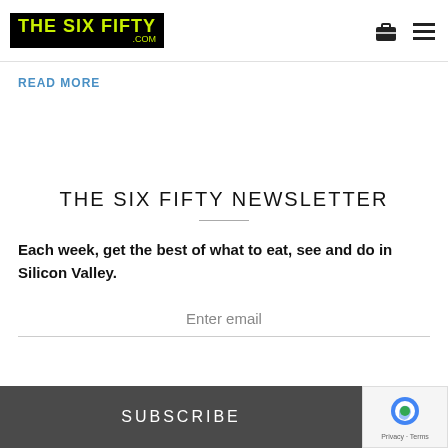THE SIX FIFTY .COM
READ MORE
THE SIX FIFTY NEWSLETTER
Each week, get the best of what to eat, see and do in Silicon Valley.
Enter email
SUBSCRIBE